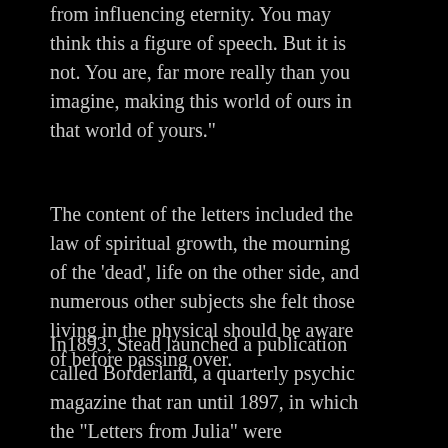You are never, for one moment, fails from influencing eternity. You may think this a figure of speech. But it is not. You are, far more really than you imagine, making this world of ours in that world of yours."
The content of the letters included the law of spiritual growth, the mourning of the 'dead', life on the other side, and numerous other subjects she felt those living in the physical should be aware of before passing over.
In1893, Stead launched a publication called Borderland, a quarterly psychic magazine that ran until 1897, in which the "Letters from Julia" were published for the first time. The book containing the letters entitled After Death was published in 1905 and was great